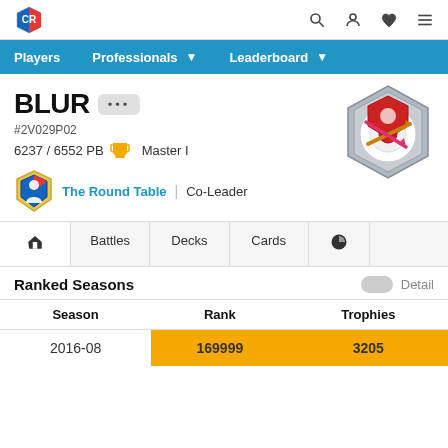BLUR #2V029P02 – Player Profile
Players | Professionals | Leaderboard
BLUR
#2V029P02
6237 / 6552 PB  Master I
The Round Table | Co-Leader
Battles | Decks | Cards
Ranked Seasons
Detail
| Season | Rank | Trophies |
| --- | --- | --- |
| 2016-08 | 169999 | 3205 |